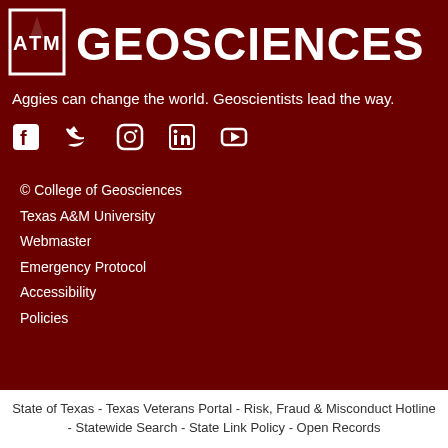GEOSCIENCES
Aggies can change the world. Geoscientists lead the way.
[Figure (other): Social media icons: Facebook, Twitter, Instagram, LinkedIn, YouTube]
© College of Geosciences
Texas A&M University
Webmaster
Emergency Protocol
Accessibility
Policies
State of Texas - Texas Veterans Portal - Risk, Fraud & Misconduct Hotline - Statewide Search - State Link Policy - Open Records